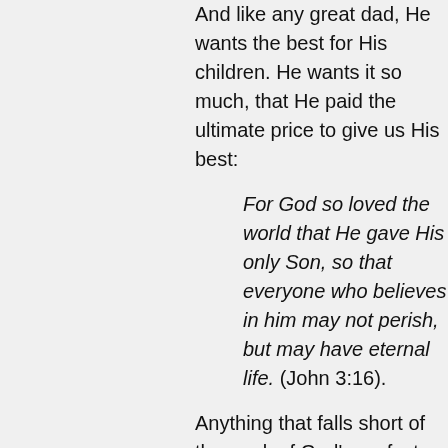And like any great dad, He wants the best for His children. He wants it so much, that He paid the ultimate price to give us His best:
For God so loved the world that He gave His only Son, so that everyone who believes in him may not perish, but may have eternal life. (John 3:16).
Anything that falls short of the mark of God's perfect plan for your life and mine, is called ... "sin". In fact the Greek word used throughout the New Testament for  "sin" – hamartia